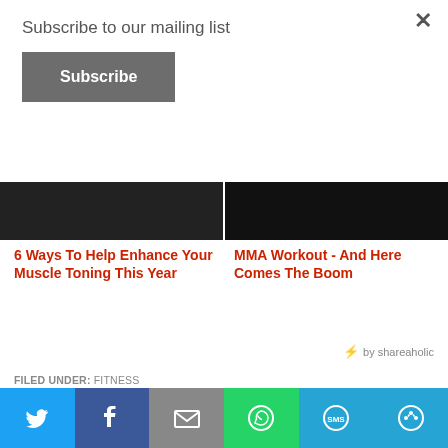Subscribe to our mailing list
Subscribe
[Figure (photo): Two dark image thumbnails side by side - left shows partial figure, right is mostly black]
6 Ways To Help Enhance Your Muscle Toning This Year
MMA Workout - And Here Comes The Boom
by shareaholic
FILED UNDER: FITNESS
TAGGED WITH: MUSCLE & FITNESS, MUSCLES, STRENGTH TRAINING, WORKOUT
Recommended reads:
[Figure (infographic): Social share bar with Twitter, Facebook, Email, WhatsApp, SMS, and share icons]